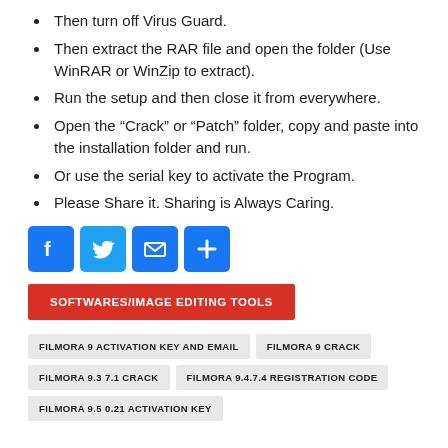Then turn off Virus Guard.
Then extract the RAR file and open the folder (Use WinRAR or WinZip to extract).
Run the setup and then close it from everywhere.
Open the “Crack” or “Patch” folder, copy and paste into the installation folder and run.
Or use the serial key to activate the Program.
Please Share it. Sharing is Always Caring.
[Figure (infographic): Social sharing icons: Facebook (blue f), Twitter (blue bird), Email (blue envelope), Share plus (blue plus)]
SOFTWARES/IMAGE EDITING TOOLS
FILMORA 9 ACTIVATION KEY AND EMAIL
FILMORA 9 CRACK
FILMORA 9.3 7.1 CRACK
FILMORA 9.4.7.4 REGISTRATION CODE
FILMORA 9.5 0.21 ACTIVATION KEY